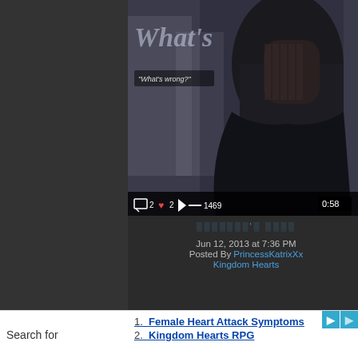[Figure (screenshot): Video thumbnail showing an anime character in a black hoodie with face partially hidden, with subtitle text 'What's wrong?' and video controls showing 2 comments, 2 likes, 1469 plays, duration 0:58]
░░░░░░░'░ ░░░░
Jun 12, 2013 at 7:36 PM
Posted By PrincessKatrixXx
Kingdom Hearts
[Figure (screenshot): Video thumbnail showing Kingdom Hearts characters: a character with blue hair and another with spiky red hair, with YouTube badge visible]
Search for
1. Female Heart Attack Symptoms
2. Kingdom Hearts RPG